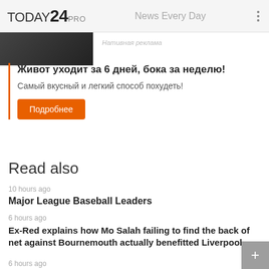TODAY24 PRO — News Every Day
[Figure (photo): Dark blurred image thumbnail in top left]
Нативная реклама
Живот уходит за 6 дней, бока за неделю!
Самый вкусный и легкий способ похудеть!
Подробнее
Read also
10 hours ago
Major League Baseball Leaders
6 hours ago
Ex-Red explains how Mo Salah failing to find the back of net against Bournemouth actually benefitted Liverpool
6 hours ago